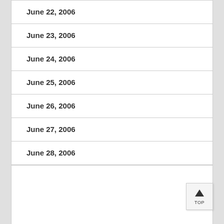June 22, 2006
June 23, 2006
June 24, 2006
June 25, 2006
June 26, 2006
June 27, 2006
June 28, 2006